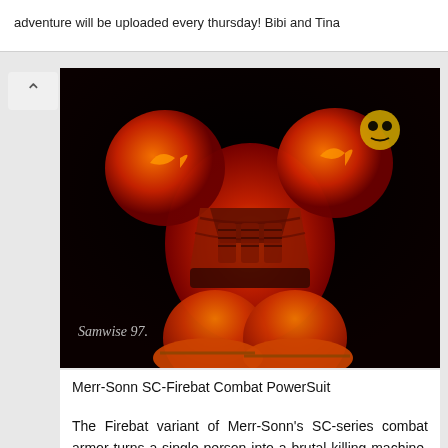adventure will be uploaded every thursday! Bibi and Tina
[Figure (illustration): Dark painting of a heavily armored combat powersuit (Firebat variant) in red, orange, and black tones, signed 'Samwise 97']
Merr-Sonn SC-Firebat Combat PowerSuit
The Firebat variant of Merr-Sonn's SC-series combat armor turns a single person into a brutal killing machine. The main suit is quite similar to that of the Marine variant with the removal of the shoulder-mounted flood lights and the